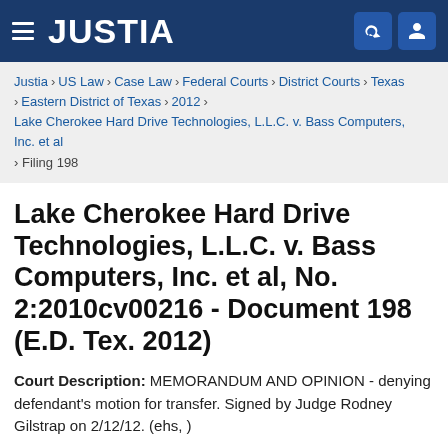JUSTIA
Justia › US Law › Case Law › Federal Courts › District Courts › Texas › Eastern District of Texas › 2012 › Lake Cherokee Hard Drive Technologies, L.L.C. v. Bass Computers, Inc. et al › Filing 198
Lake Cherokee Hard Drive Technologies, L.L.C. v. Bass Computers, Inc. et al, No. 2:2010cv00216 - Document 198 (E.D. Tex. 2012)
Court Description: MEMORANDUM AND OPINION - denying defendant's motion for transfer. Signed by Judge Rodney Gilstrap on 2/12/12. (ehs, )